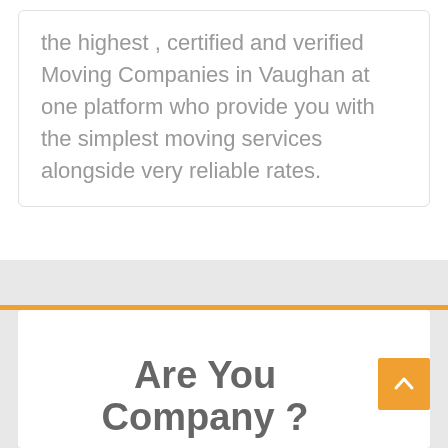the highest , certified and verified Moving Companies in Vaughan at one platform who provide you with the simplest moving services alongside very reliable rates.
Are You Company ?